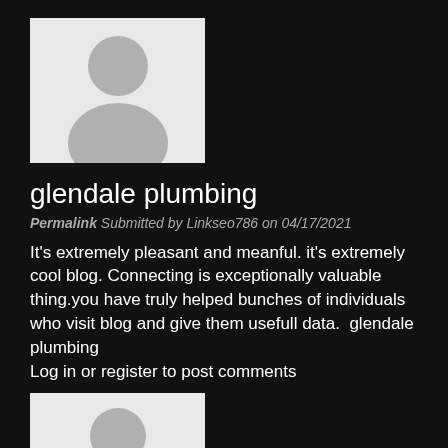[Figure (illustration): Default user avatar placeholder image showing a grey silhouette of a person on a white/light background]
glendale plumbing
Permalink Submitted by Linkseo786 on 04/17/2021
It's extremely pleasant and meanful. it's extremely cool blog. Connecting is exceptionally valuable thing.you have truly helped bunches of individuals who visit blog and give them usefull data.  glendale plumbing
Log in or register to post comments
[Figure (illustration): Default user avatar placeholder image showing a grey silhouette of a person on a white/light background]
plumbers in glendale
Permalink Submitted by Linkseo786 on 04/17/2021